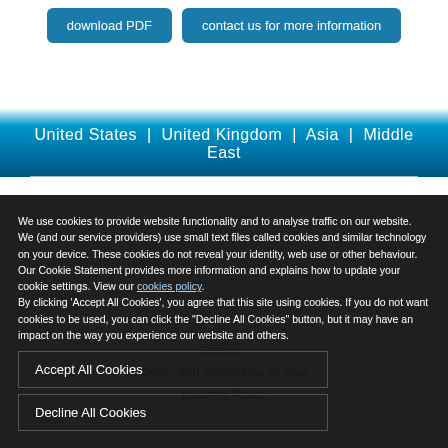[Figure (screenshot): Two blue rounded-rectangle buttons side by side: 'download PDF' and 'contact us for more information']
United States | United Kingdom | Asia | Middle East
We use cookies to provide website functionality and to analyse traffic on our website. We (and our service providers) use small text files called cookies and similar technology on your device. These cookies do not reveal your identity, web use or other behaviour. Our Cookie Statement provides more information and explains how to update your cookie settings. View our cookies policy.
By clicking 'Accept All Cookies', you agree that this site using cookies. If you do not want cookies to be used, you can click the "Decline All Cookies" button, but it may have an impact on the way you experience our website and others.
Accept All Cookies
Decline All Cookies